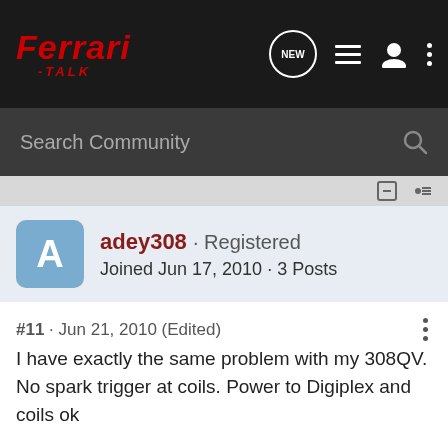Ferrari-TALK
Search Community
adey308 · Registered
Joined Jun 17, 2010 · 3 Posts
#11 · Jun 21, 2010 (Edited)
I have exactly the same problem with my 308QV. No spark trigger at coils. Power to Digiplex and coils ok

Will test pick up sensor tonight.


Thnx

Adrian